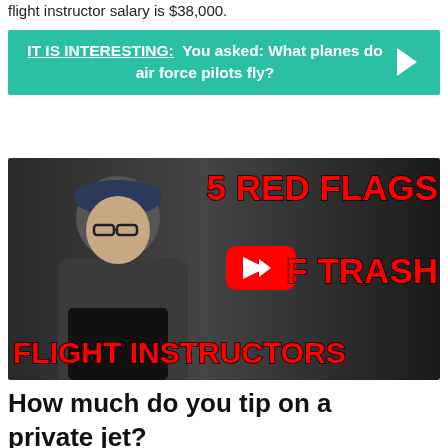flight instructor salary is $38,000.
IT IS INTERESTING: You asked: What planes do air force pilots fly?
[Figure (screenshot): YouTube video thumbnail showing a man with glasses and a cap, with red bold text reading '5 RED FLAGS OF TRASH FLIGHT INSTRUCTORS' and a YouTube play button in the center]
How much do you tip on a private jet?